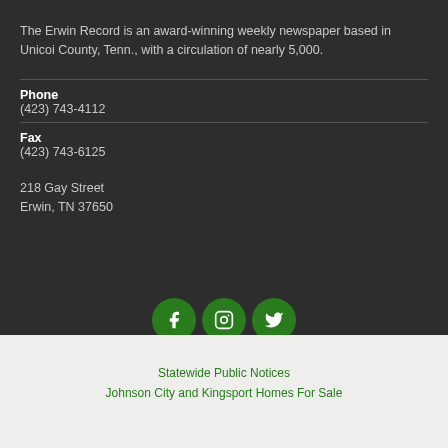The Erwin Record is an award-winning weekly newspaper based in Unicoi County, Tenn., with a circulation of nearly 5,000.
Phone
(423) 743-4112
Fax
(423) 743-6125
218 Gay Street
Erwin, TN 37650
[Figure (infographic): Three circular social media icons (Facebook, Instagram, Twitter) in dark green]
Statewide Public Notices
Johnson City and Kingsport Homes For Sale
©2001-2022 The Erwin Record. All Rights Reserved. This material may not be published, broadcast, rewritten or redistributed. Privacy Policy / Terms of Use